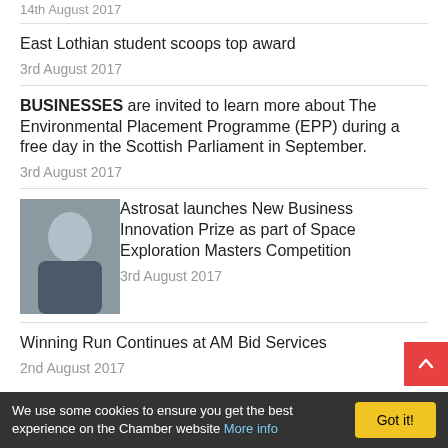14th August 2017
East Lothian student scoops top award
3rd August 2017
BUSINESSES are invited to learn more about The Environmental Placement Programme (EPP) during a free day in the Scottish Parliament in September.
3rd August 2017
Astrosat launches New Business Innovation Prize as part of Space Exploration Masters Competition
3rd August 2017
Winning Run Continues at AM Bid Services
2nd August 2017
Rugby legend lends his insights into
We use some cookies to ensure you get the best experience on the Chamber website More info